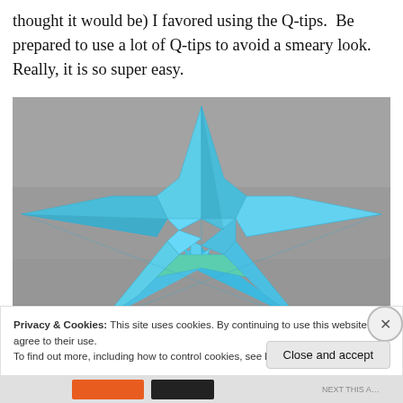thought it would be) I favored using the Q-tips.  Be prepared to use a lot of Q-tips to avoid a smeary look.  Really, it is so super easy.
[Figure (photo): A blue paper star (origami/folded paper) photographed against a grey background. The star has five pointed tips and shows distinct triangular folded sections meeting at the center.]
Privacy & Cookies: This site uses cookies. By continuing to use this website, you agree to their use.
To find out more, including how to control cookies, see here: Cookie Policy